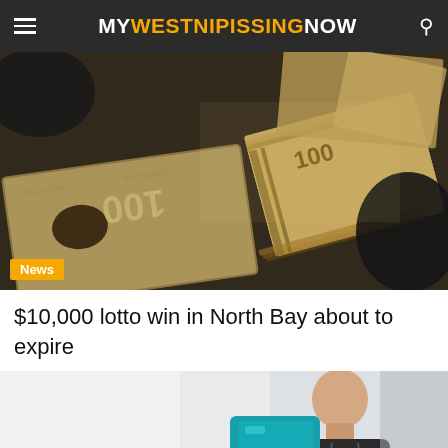MY WEST NIPISSING NOW
[Figure (photo): Close-up photo of burnt and scorched Canadian $100 bills being held in a hand]
$10,000 lotto win in North Bay about to expire
[Figure (photo): Man sitting indoors, partially visible, wearing a black hoodie with teal/blue object nearby]